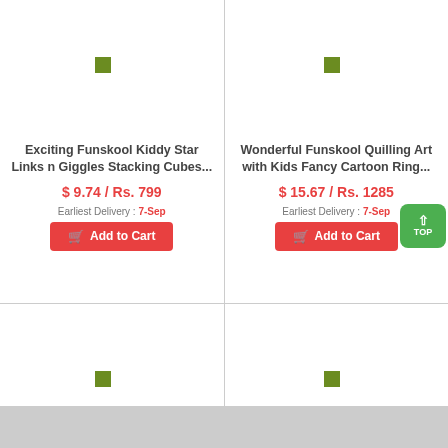[Figure (screenshot): Product card for Exciting Funskool Kiddy Star Links n Giggles Stacking Cubes with placeholder image (green square icon), price $9.74 / Rs. 799, earliest delivery 7-Sep, Add to Cart button]
[Figure (screenshot): Product card for Wonderful Funskool Quilling Art with Kids Fancy Cartoon Ring with placeholder image (green square icon), price $15.67 / Rs. 1285, earliest delivery 7-Sep, Add to Cart button, TOP scroll button]
[Figure (screenshot): Partial product card at bottom-left, placeholder image visible]
[Figure (screenshot): Partial product card at bottom-right, placeholder image visible]